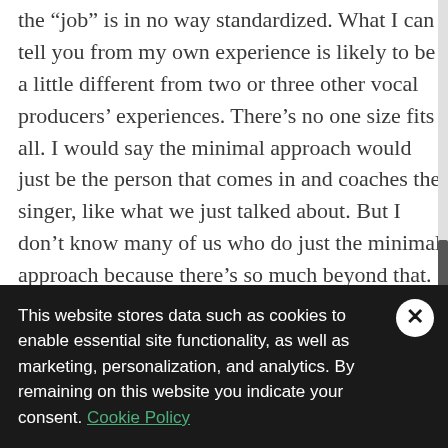the “job” is in no way standardized. What I can tell you from my own experience is likely to be a little different from two or three other vocal producers’ experiences. There’s no one size fits all. I would say the minimal approach would just be the person that comes in and coaches the singer, like what we just talked about. But I don’t know many of us who do just the minimal approach because there’s so much beyond that.

A huge part of the vocal production is the actual layering and arranging the vocals. For
This website stores data such as cookies to enable essential site functionality, as well as marketing, personalization, and analytics. By remaining on this website you indicate your consent. Cookie Policy